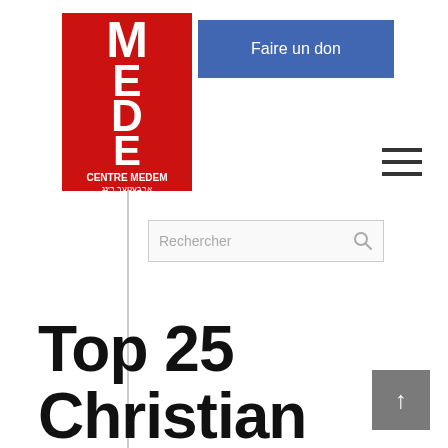[Figure (logo): Centre Medem logo — red square with white bold letters M, E, D, E, M stacked vertically, with 'CENTRE MEDEM' text and Hebrew/Yiddish script below]
[Figure (other): Blue button labeled 'Faire un don']
[Figure (other): Hamburger menu icon (three horizontal lines)]
[Figure (other): Search input field with placeholder text 'Rechercher' and a magnifying glass icon]
Top 25 Christian Leaders You
[Figure (other): Back-to-top button with upward arrow, grey background]